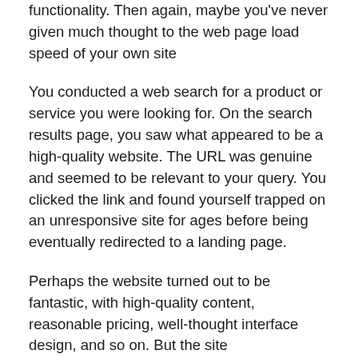functionality. Then again, maybe you've never given much thought to the web page load speed of your own site
You conducted a web search for a product or service you were looking for. On the search results page, you saw what appeared to be a high-quality website. The URL was genuine and seemed to be relevant to your query. You clicked the link and found yourself trapped on an unresponsive site for ages before being eventually redirected to a landing page.
Perhaps the website turned out to be fantastic, with high-quality content, reasonable pricing, well-thought interface design, and so on. But the site